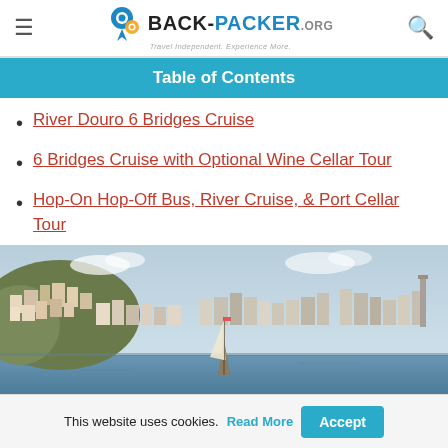Back-Packer.org — Travel Independent. Experience More.
Table of Contents
River Douro 6 Bridges Cruise
6 Bridges Cruise with Optional Wine Cellar Tour
Hop-On Hop-Off Bus, River Cruise, & Port Cellar Tour
[Figure (photo): Panoramic view of Porto (Vila Nova de Gaia) waterfront with hillside buildings and a sailing vessel on the Douro River]
This website uses cookies. Read More  Accept